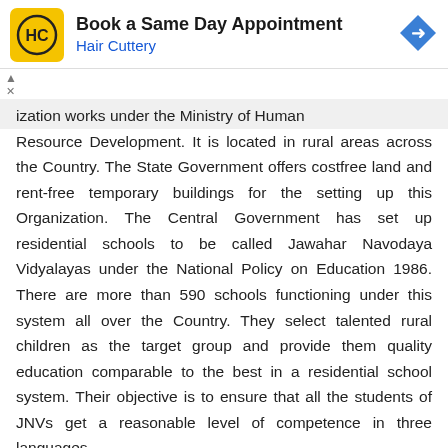[Figure (screenshot): Advertisement banner for Hair Cuttery: 'Book a Same Day Appointment' with yellow HC logo and blue navigation arrow icon]
ization works under the Ministry of Human Resource Development. It is located in rural areas across the Country. The State Government offers costfree land and rent-free temporary buildings for the setting up this Organization. The Central Government has set up residential schools to be called Jawahar Navodaya Vidyalayas under the National Policy on Education 1986. There are more than 590 schools functioning under this system all over the Country. They select talented rural children as the target group and provide them quality education comparable to the best in a residential school system. Their objective is to ensure that all the students of JNVs get a reasonable level of competence in three languages.